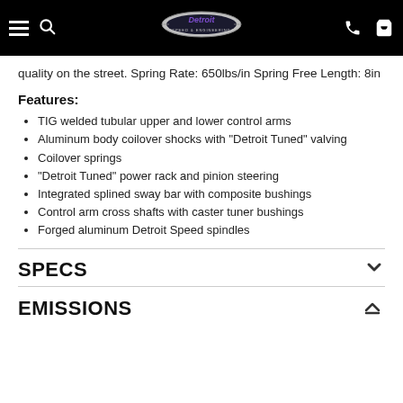Detroit Speed & Engineering
quality on the street. Spring Rate: 650lbs/in Spring Free Length: 8in
Features:
TIG welded tubular upper and lower control arms
Aluminum body coilover shocks with "Detroit Tuned" valving
Coilover springs
"Detroit Tuned" power rack and pinion steering
Integrated splined sway bar with composite bushings
Control arm cross shafts with caster tuner bushings
Forged aluminum Detroit Speed spindles
SPECS
EMISSIONS